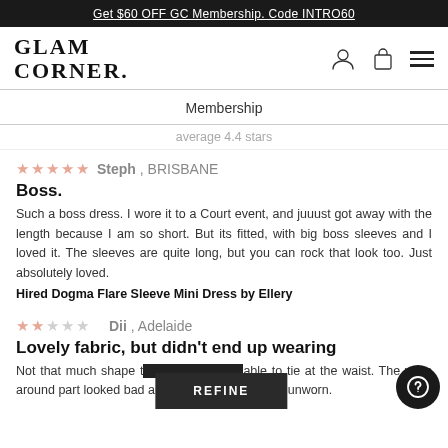Get $60 OFF GC Membership. Code INTRO60
[Figure (logo): GlamCorner logo with navigation icons (profile, bag, menu)]
Membership
average 4.4 stars
★★★★★  Steph , BRISBANE
Boss.
Such a boss dress. I wore it to a Court event, and juuust got away with the length because I am so short. But its fitted, with big boss sleeves and I loved it. The sleeves are quite long, but you can rock that look too. Just absolutely loved.
Hired Dogma Flare Sleeve Mini Dress by Ellery
★★  Dii , Adelaide
Lovely fabric, but didn't end up wearing
Not that much shape t...able to tie at the waist. The wrap around part looked bad and I ended up returning unworn.